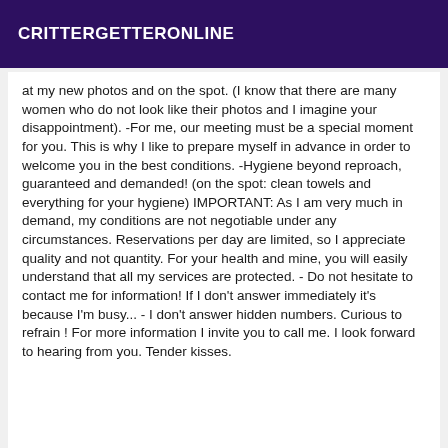CRITTERGETTERONLINE
at my new photos and on the spot. (I know that there are many women who do not look like their photos and I imagine your disappointment). -For me, our meeting must be a special moment for you. This is why I like to prepare myself in advance in order to welcome you in the best conditions. -Hygiene beyond reproach, guaranteed and demanded! (on the spot: clean towels and everything for your hygiene) IMPORTANT: As I am very much in demand, my conditions are not negotiable under any circumstances. Reservations per day are limited, so I appreciate quality and not quantity. For your health and mine, you will easily understand that all my services are protected. - Do not hesitate to contact me for information! If I don't answer immediately it's because I'm busy... - I don't answer hidden numbers. Curious to refrain ! For more information I invite you to call me. I look forward to hearing from you. Tender kisses.